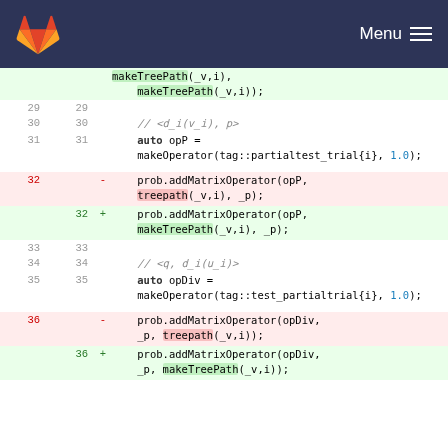GitLab Menu
[Figure (screenshot): Code diff view showing lines 29-36 of a C++ source file with diff markers. Lines 32 and 36 show removed (-) and added (+) versions replacing treepath with makeTreePath function calls.]